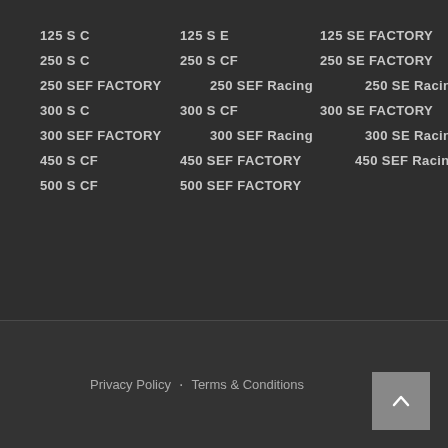125 S C
125 S E
125 SE FACTORY
125 SE Racing
250 S C
250 S CF
250 SE FACTORY
250 SEF FACTORY
250 SEF Racing
250 SE Racing
300 S C
300 S CF
300 SE FACTORY
300 SEF FACTORY
300 SEF Racing
300 SE Racing
450 S CF
450 SEF FACTORY
450 SEF Racing
500 S CF
500 SEF FACTORY
Privacy Policy · Terms & Conditions